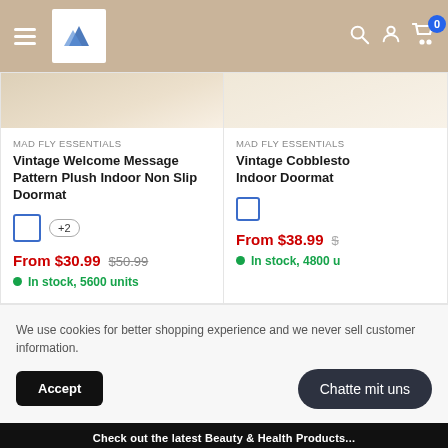MAD FLY ESSENTIALS - Navigation Bar with logo, search, account, cart (0)
MAD FLY ESSENTIALS
Vintage Welcome Message Pattern Plush Indoor Non Slip Doormat
From $30.99  $50.99
In stock, 5600 units
MAD FLY ESSENTIALS
Vintage Cobblestone Indoor Doormat
From $38.99
In stock, 4800 u
We use cookies for better shopping experience and we never sell customer information.
Accept
Chatte mit uns
Check out the latest Beauty & Health Products...